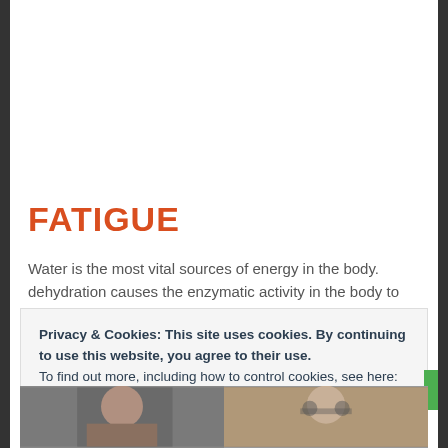FATIGUE
Water is the most vital sources of energy in the body. dehydration causes the enzymatic activity in the body to
Privacy & Cookies: This site uses cookies. By continuing to use this website, you agree to their use.
To find out more, including how to control cookies, see here: Cookie Policy
Close and accept
[Figure (photo): Two photos at the bottom of the page showing people]
[Figure (photo): Second photo at the bottom right, appears to show a person with glasses]